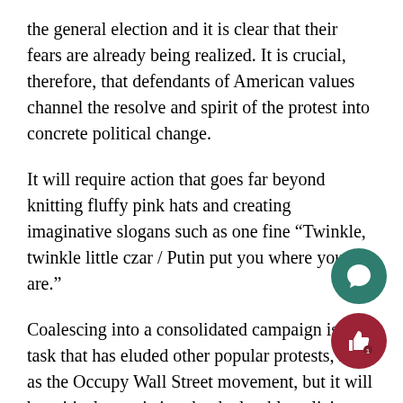the general election and it is clear that their fears are already being realized. It is crucial, therefore, that defendants of American values channel the resolve and spirit of the protest into concrete political change.
It will require action that goes far beyond knitting fluffy pink hats and creating imaginative slogans such as one fine “Twinkle, twinkle little czar / Putin put you where you are.”
Coalescing into a consolidated campaign is a task that has eluded other popular protests, such as the Occupy Wall Street movement, but it will be critical to resisting the deplorable policies that Trump’s White House has already enacted. Protesting is a good start, but it is not enough.
Remember the wise words of our beloved Barack